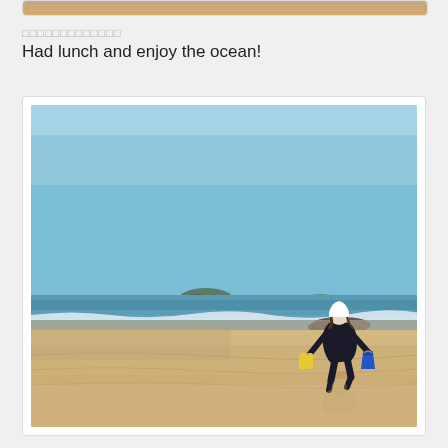[Figure (photo): Partial top strip of a sandy beach photo cropped at top of page]
□□□□□□□□□□□□□
Had lunch and enjoy the ocean!
[Figure (photo): Person in dark coat walking barefoot on a sandy beach holding a yellow bag and blue bucket, ocean and hills visible in background under clear blue sky]